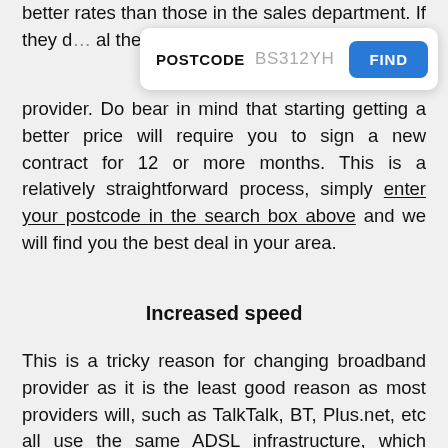better rates than those in the sales department. If they d[…] al then conside[…] service provider. Do bear in mind that starting getting a better price will require you to sign a new contract for 12 or more months. This is a relatively straightforward process, simply enter your postcode in the search box above and we will find you the best deal in your area.
[Figure (screenshot): Postcode search box UI with label 'POSTCODE', placeholder text 'BS312YH', and a blue 'FIND' button]
Increased speed
This is a tricky reason for changing broadband provider as it is the least good reason as most providers will, such as TalkTalk, BT, Plus.net, etc all use the same ADSL infrastructure, which means you will get the same performance (upload and download speeds) regardless of who you buy your